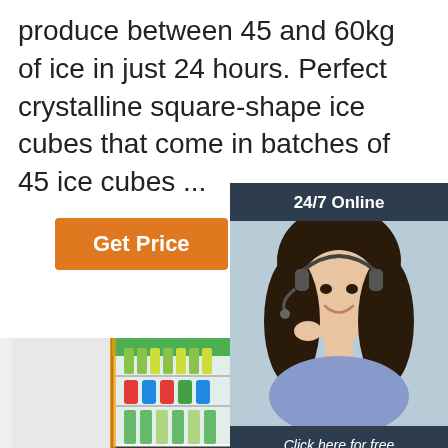produce between 45 and 60kg of ice in just 24 hours. Perfect crystalline square-shape ice cubes that come in batches of 45 ice cubes ...
[Figure (other): Orange 'Get Price' button]
[Figure (other): Chat widget with '24/7 Online' header, photo of woman with headset, 'Click here for free chat!' text and orange QUOTATION button]
[Figure (photo): Glass-door refrigerator/display cooler filled with beverages on shelves]
[Figure (photo): Pink section with food images (olive oil/vegetables and berries/fruits) and TOP logo]